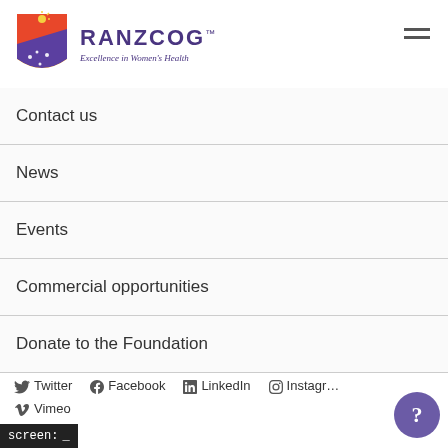[Figure (logo): RANZCOG logo with shield and sun emblem, text 'RANZCOG Excellence in Women's Health']
Contact us
News
Events
Commercial opportunities
Donate to the Foundation
Twitter   Facebook   LinkedIn   Instagram   Vimeo
screen: _